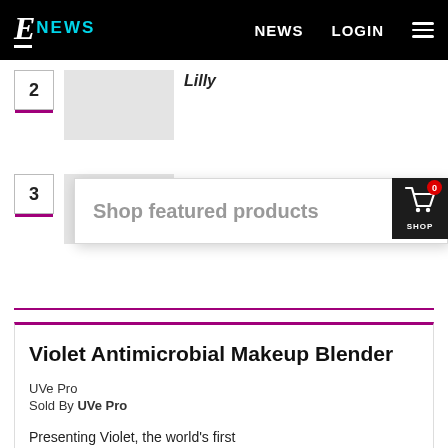E! NEWS | NEWS | LOGIN
2 — Lilly
3 — Beyond Scared Straight's Ashley
Shop featured products ×
Violet Antimicrobial Makeup Blender
UVe Pro
Sold By UVe Pro
Presenting Violet, the world's first